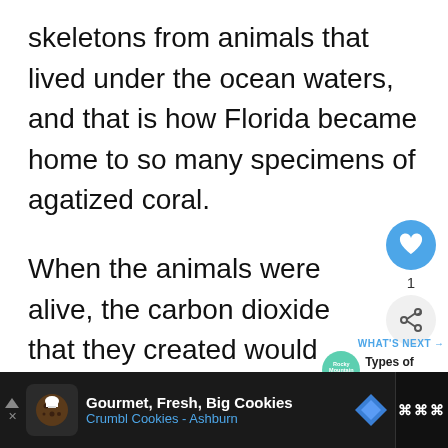skeletons from animals that lived under the ocean waters, and that is how Florida became home to so many specimens of agatized coral.
When the animals were alive, the carbon dioxide that they created would combine with the salt elements in ocean water to form coral.
This process takes millions of ye
[Figure (infographic): Website UI overlay showing a heart/like button (blue circle with heart icon), count of 1, and a share button below it. Also shows a 'WHAT'S NEXT' panel with Rocky Mountain Rocks badge and 'Types of Rocks Foun...' text.]
[Figure (infographic): Advertisement bar at bottom: dark background with Crumbl Cookies ad showing 'Gourmet, Fresh, Big Cookies' and 'Crumbl Cookies - Ashburn' with cookie icon and blue diamond logo. Right side shows a separate dark panel.]